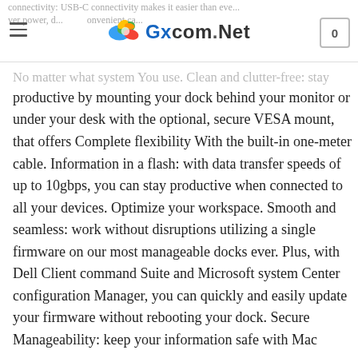Gxcom.Net — navigation header with logo and cart
connectivity: USB-C connectivity makes it easier than ever power. d... convenient ca... No matter what system You use. Clean and clutter-free: stay productive by mounting your dock behind your monitor or under your desk with the optional, secure VESA mount, that offers Complete flexibility With the built-in one-meter cable. Information in a flash: with data transfer speeds of up to 10gbps, you can stay productive when connected to all your devices. Optimize your workspace. Smooth and seamless: work without disruptions utilizing a single firmware on our most manageable docks ever. Plus, with Dell Client command Suite and Microsoft system Center configuration Manager, you can quickly and easily update your firmware without rebooting your dock. Secure Manageability: keep your information safe with Mac address pass-thru and remote port-disablement. Plus, with features like PXE Boot, wake-on-lan and more, It's easier than ever to stay.